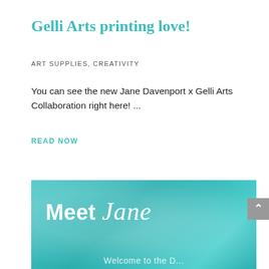Gelli Arts printing love!
ART SUPPLIES,  CREATIVITY
You can see the new Jane Davenport x Gelli Arts Collaboration right here! ...
READ NOW
[Figure (illustration): Teal/turquoise textured background image with white text reading 'Meet Jane' and partial text at the bottom reading 'Welcome to the D...']